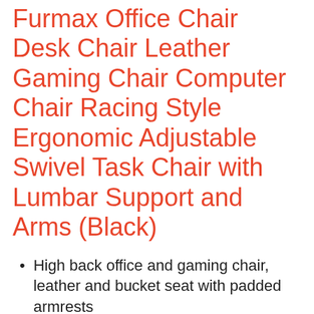Furmax Office Chair Desk Chair Leather Gaming Chair Computer Chair Racing Style Ergonomic Adjustable Swivel Task Chair with Lumbar Support and Arms (Black)
High back office and gaming chair, leather and bucket seat with padded armrests
5 star base with 360 degree swivel wheels,Running smoothly on floor;3 inches thick padded seat and 2